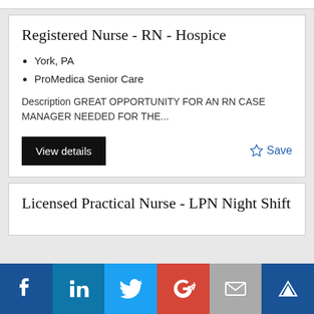Registered Nurse - RN - Hospice
York, PA
ProMedica Senior Care
Description GREAT OPPORTUNITY FOR AN RN CASE MANAGER NEEDED FOR THE...
Licensed Practical Nurse - LPN Night Shift
[Figure (infographic): Social media sharing bar with Facebook, LinkedIn, Twitter, Google+, Email, and Moo buttons]